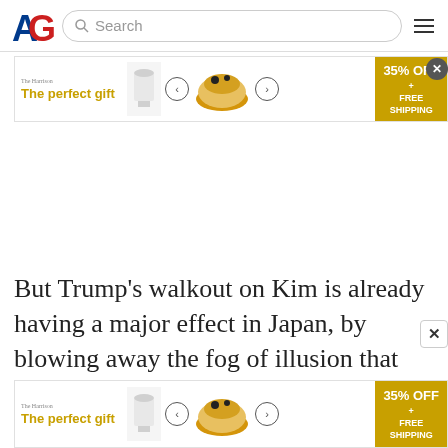[Figure (logo): AG logo with red G and blue A letters]
Search
[Figure (infographic): Advertisement banner: The perfect gift, 35% OFF + FREE SHIPPING, with images of food bowls]
But Trump's walkout on Kim is already having a major effect in Japan, by blowing away the fog of illusion that
[Figure (infographic): Advertisement banner bottom: The perfect gift, 35% OFF + FREE SHIPPING, with images of food bowls]